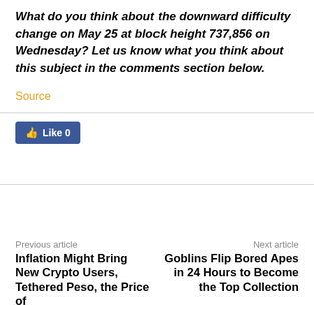What do you think about the downward difficulty change on May 25 at block height 737,856 on Wednesday? Let us know what you think about this subject in the comments section below.
Source
[Figure (other): Facebook Like button showing 'Like 0']
Previous article
Next article
Inflation Might Bring New Crypto Users, Tethered Peso, the Price of
Goblins Flip Bored Apes in 24 Hours to Become the Top Collection